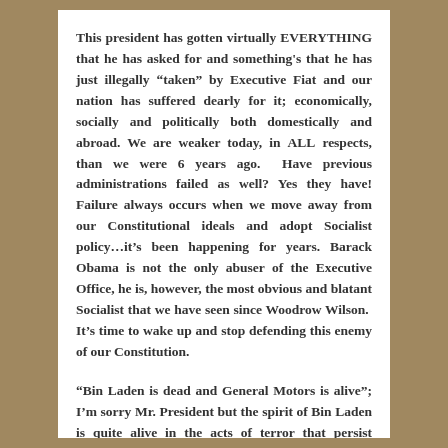This president has gotten virtually EVERYTHING that he has asked for and something's that he has just illegally “taken” by Executive Fiat and our nation has suffered dearly for it; economically, socially and politically both domestically and abroad. We are weaker today, in ALL respects, than we were 6 years ago. Have previous administrations failed as well? Yes they have! Failure always occurs when we move away from our Constitutional ideals and adopt Socialist policy…it’s been happening for years. Barack Obama is not the only abuser of the Executive Office, he is, however, the most obvious and blatant Socialist that we have seen since Woodrow Wilson. It’s time to wake up and stop defending this enemy of our Constitution.
“Bin Laden is dead and General Motors is alive”; I’m sorry Mr. President but the spirit of Bin Laden is quite alive in the acts of terror that persist throughout the world and the spirit of General Motors was killed when you took MY money and